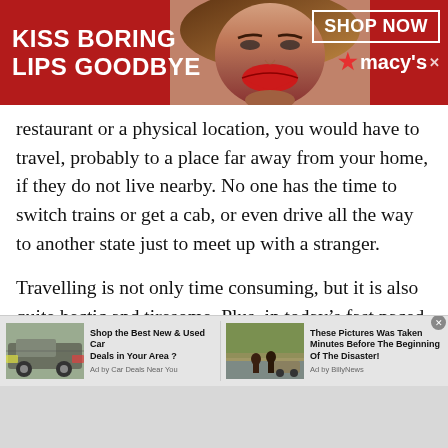[Figure (other): Macy's advertisement banner with red background, woman's face with red lips in center, 'KISS BORING LIPS GOODBYE' text on left, 'SHOP NOW' button and Macy's star logo on right]
restaurant or a physical location, you would have to travel, probably to a place far away from your home, if they do not live nearby. No one has the time to switch trains or get a cab, or even drive all the way to another state just to meet up with a stranger.
Travelling is not only time consuming, but it is also quite hectic and tiresome. Plus, in today's fast paced world no one can take out the time to travel somewhere far off. It is almost impossible to clear one's schedule for one's own
[Figure (other): Two advertisement tiles at bottom: (1) Car ad showing SUV - 'Shop the Best New & Used Car Deals in Your Area? Ad by Car Deals Near You'; (2) Disaster photo ad - 'These Pictures Was Taken Minutes Before The Beginning Of The Disaster! Ad by BillyNews']